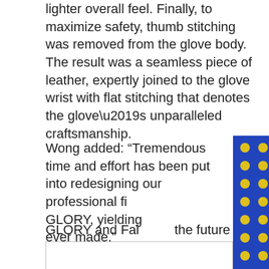lighter overall feel. Finally, to maximize safety, thumb stitching was removed from the glove body. The result was a seamless piece of leather, expertly joined to the glove wrist with flat stitching that denotes the glove’s unparalleled craftsmanship.
Wong added: “Tremendous time and effort has been put into redesigning our professional fi[ghter gloves for use in] GLORY, yielding [what we consider the best] ever made.”
[Figure (photo): Advertisement overlay for Karate Combat 35 Aftermath, showing a shirtless fighter celebrating in front of a colorful blue and yellow dot-pattern background with a pink bar on the right side. Text reads KARATE COMBAT 35 and AFTERMATH. A blue circular arrow button is visible on the right.]
GLORY and Fai[rchild Sport plan for] the future to c[ontinue developing gloves] for retail sale.